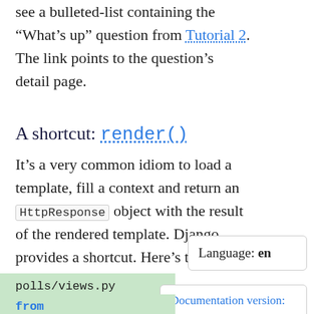see a bulleted-list containing the “What’s up” question from Tutorial 2. The link points to the question’s detail page.
A shortcut: render()
It’s a very common idiom to load a template, fill a context and return an HttpResponse object with the result of the rendered template. Django provides a shortcut. Here’s the full index() view, rewritten:
Language: en
polls/views.py
Documentation version: 4.0
from django.shortcuts import rend